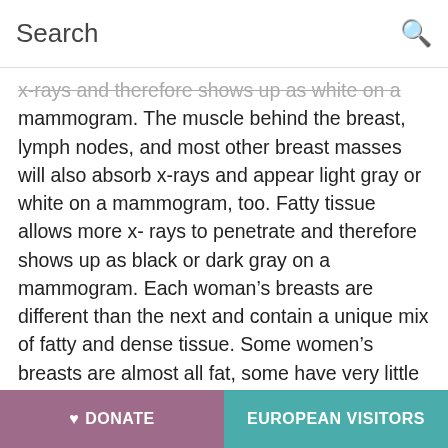Search
x-rays and therefore shows up as white on a mammogram. The muscle behind the breast, lymph nodes, and most other breast masses will also absorb x-rays and appear light gray or white on a mammogram, too. Fatty tissue allows more x-rays to penetrate and therefore shows up as black or dark gray on a mammogram. Each woman's breasts are different than the next and contain a unique mix of fatty and dense tissue. Some women's breasts are almost all fat, some have very little fat, and some are in between. Some dense breasts are mostly fibrous tissue and some are mostly glandular tissue.  Dense breasts are normal and tend to become less dense with age and menopause. Breast density is not determined by
♥ DONATE   EUROPEAN VISITORS